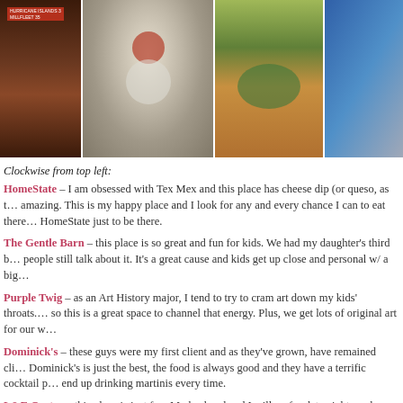[Figure (photo): Strip of food/restaurant photos: dark booth interior, overhead oysters on ice with lemon and sauce, fried food in bowl, partial photo of person at laptop]
Clockwise from top left:
HomeState – I am obsessed with Tex Mex and this place has cheese dip (or queso, as t… amazing. This is my happy place and I look for any and every chance I can to eat there… HomeState just to be there.
The Gentle Barn – this place is so great and fun for kids. We had my daughter's third b… people still talk about it. It's a great cause and kids get up close and personal w/ a big…
Purple Twig – as an Art History major, I tend to try to cram art down my kids' throats.… so this is a great space to channel that energy. Plus, we get lots of original art for our w…
Dominick's – these guys were my first client and as they've grown, have remained cli… Dominick's is just the best, the food is always good and they have a terrific cocktail p… end up drinking martinis every time.
L&E Oyster – this place is just fun. My husband and I will go for date nights and have… their shucking knife and drink champagne or whenever one of my girlfriends visits fro…